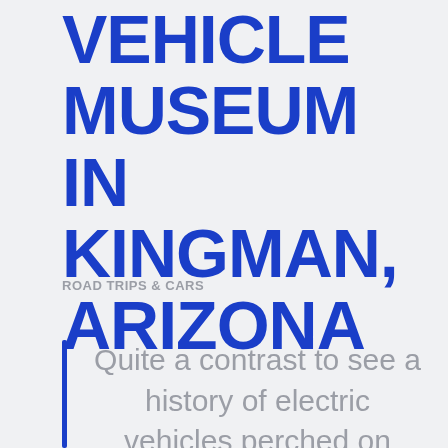ELECTRIC VEHICLE MUSEUM IN KINGMAN, ARIZONA
ROAD TRIPS & CARS
Quite a contrast to see a history of electric vehicles perched on